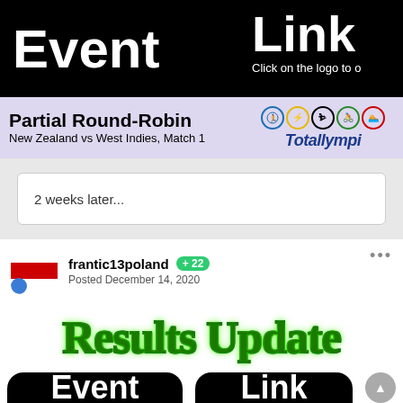[Figure (screenshot): Top black banner with 'Event' text on left side and 'Link' with 'Click on the logo to o...' text on right side]
Partial Round-Robin
New Zealand vs West Indies, Match 1
[Figure (logo): Totallympics logo with 5 sport icons in Olympic ring colors]
2 weeks later...
frantic13poland +22
Posted December 14, 2020
Results Update
[Figure (screenshot): Bottom black buttons: 'Event' and 'Link' rounded rectangle buttons]